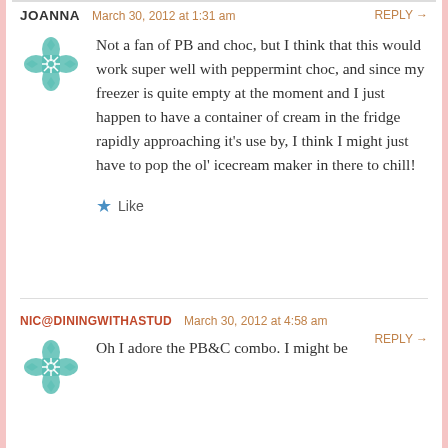JOANNA   March 30, 2012 at 1:31 am   REPLY →
Not a fan of PB and choc, but I think that this would work super well with peppermint choc, and since my freezer is quite empty at the moment and I just happen to have a container of cream in the fridge rapidly approaching it's use by, I think I might just have to pop the ol' icecream maker in there to chill!
★ Like
NIC@DININGWITHASTUD   March 30, 2012 at 4:58 am   REPLY →
Oh I adore the PB&C combo. I might be